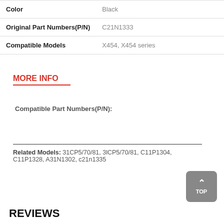|  |  |
| --- | --- |
| Color | Black |
| Original Part Numbers(P/N) | C21N1333 |
| Compatible Models | X454, X454 series |
MORE INFO
Compatible Part Numbers(P/N):
Related Models: 31CP5/70/81, 3lCP5/70/81, C11P1304, C11P1328, A31N1302, c21n1335
REVIEWS